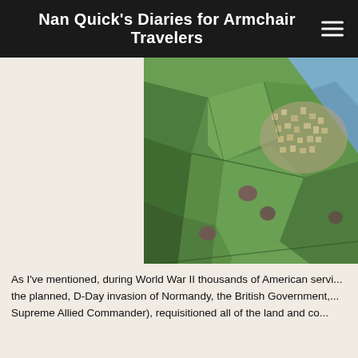Nan Quick's Diaries for Armchair Travelers
[Figure (photo): Aerial view of Slapton Ley showing green patchwork fields, a coastal village, and ocean/lake water to the upper right]
Aerial View of Slapton Ley, In...
As I've mentioned, during World War II thousands of American servi... the planned, D-Day invasion of Normandy, the British Government,... Supreme Allied Commander), requisitioned all of the land and co...